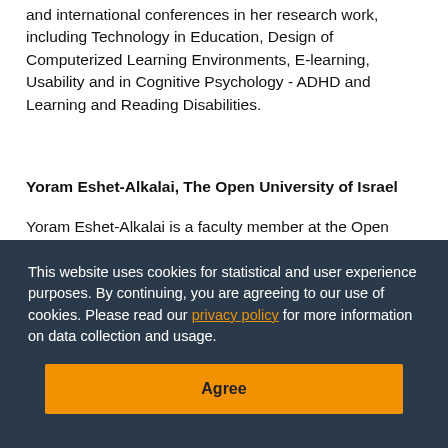and international conferences in her research work, including Technology in Education, Design of Computerized Learning Environments, E-learning, Usability and in Cognitive Psychology - ADHD and Learning and Reading Disabilities.
Yoram Eshet-Alkalai, The Open University of Israel
Yoram Eshet-Alkalai is a faculty member at the Open University of Israel, Department of Education & Psychology. He is the Coordinator of the MA program in educational technology and the Head of the Chais Research Center for
[Figure (screenshot): Cookie consent overlay with dark navy background. Text reads: 'This website uses cookies for statistical and user experience purposes. By continuing, you are agreeing to our use of cookies. Please read our privacy policy for more information on data collection and usage.' An orange 'Agree' button is shown below.]
instructional solutions for educational systems in Israel and